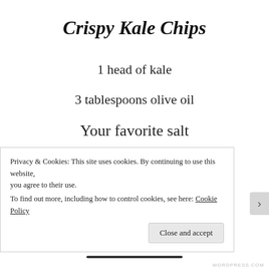Crispy Kale Chips
1 head of kale
3 tablespoons olive oil
Your favorite salt
1. Wash kale.
Privacy & Cookies: This site uses cookies. By continuing to use this website, you agree to their use.
To find out more, including how to control cookies, see here: Cookie Policy
Close and accept